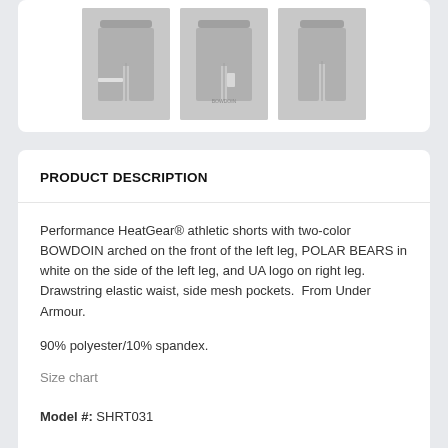[Figure (photo): Three views of gray athletic shorts displayed against white background]
PRODUCT DESCRIPTION
Performance HeatGear® athletic shorts with two-color BOWDOIN arched on the front of the left leg, POLAR BEARS in white on the side of the left leg, and UA logo on right leg. Drawstring elastic waist, side mesh pockets.  From Under Armour.
90% polyester/10% spandex.
Size chart
Model #: SHRT031